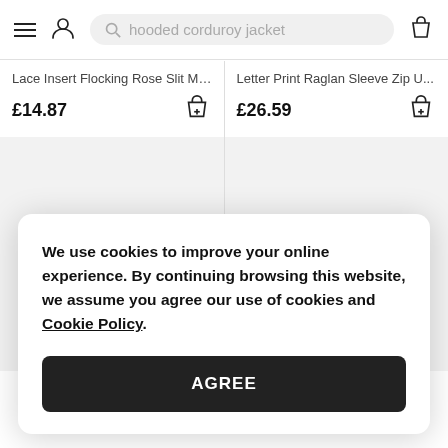[Figure (screenshot): Top navigation bar with hamburger menu, user icon, search bar with 'hooded corduroy jacket' placeholder text, and shopping bag icon]
Lace Insert Flocking Rose Slit Mi...
£14.87
Letter Print Raglan Sleeve Zip U...
£26.59
We use cookies to improve your online experience. By continuing browsing this website, we assume you agree our use of cookies and Cookie Policy.
AGREE